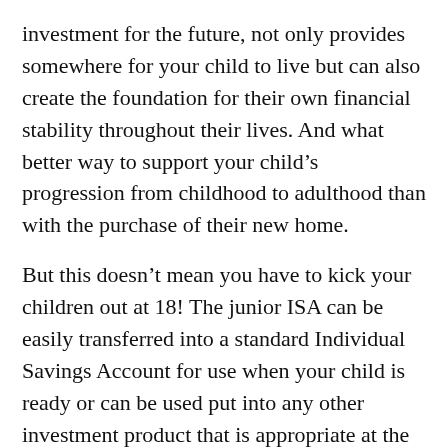investment for the future, not only provides somewhere for your child to live but can also create the foundation for their own financial stability throughout their lives. And what better way to support your child's progression from childhood to adulthood than with the purchase of their new home.
But this doesn't mean you have to kick your children out at 18! The junior ISA can be easily transferred into a standard Individual Savings Account for use when your child is ready or can be used put into any other investment product that is appropriate at the point that the funds become accessible. Unlike the Child Trust Fund, if your child changes their mind, then the funds are available to them no matter how or when they want to spend them, but you have the confidence and peace of mind to know